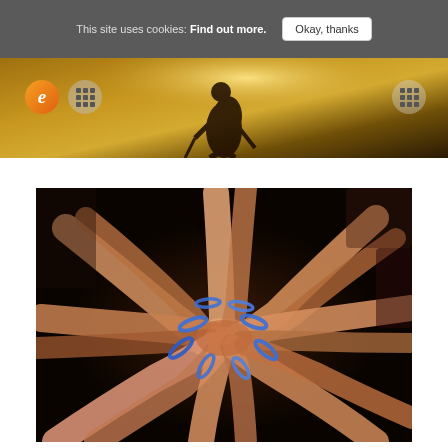This site uses cookies: Find out more.
Okay, thanks
[Figure (photo): Hero banner with silhouette of hiker with backpack and trekking pole against golden backlit sky. Orange 'e' logo circle on left, two grid/apps icons.]
[Figure (photo): Group of people forming a circle with hands stacked together in center, many wearing blue wristbands, viewed from above.]